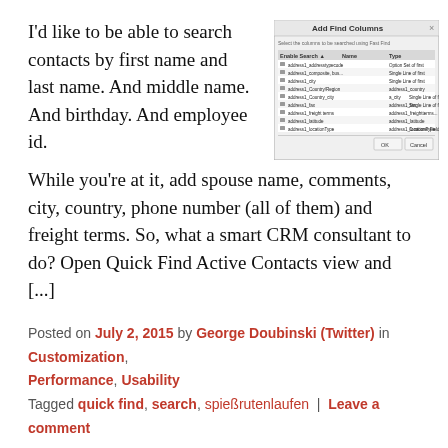I'd like to be able to search contacts by first name and last name. And middle name. And birthday. And employee id.
[Figure (screenshot): Screenshot of Add Find Columns dialog in CRM]
While you're at it, add spouse name, comments, city, country, phone number (all of them) and freight terms. So, what a smart CRM consultant to do? Open Quick Find Active Contacts view and [...]
Posted on July 2, 2015 by George Doubinski (Twitter) in Customization, Performance, Usability
Tagged quick find, search, spießrutenlaufen | Leave a comment
Tip #421: No email